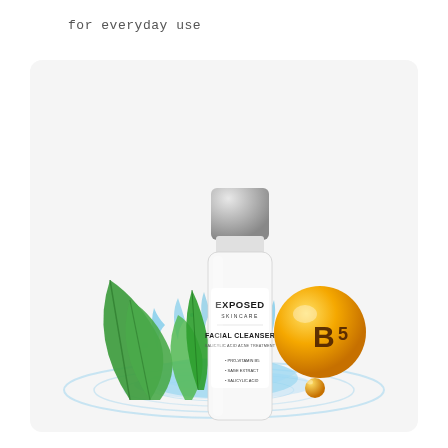for everyday use
[Figure (photo): Product photo of Exposed Skincare Facial Cleanser bottle (white bottle with silver cap) surrounded by green leaves, water splash, and a golden vitamin B5 sphere. Text on bottle: EXPOSED SKINCARE, FACIAL CLEANSER, SALICYLIC ACID ACNE TREATMENT, PRO-VITAMIN B5, SAGE EXTRACT, SALICYLIC ACID.]